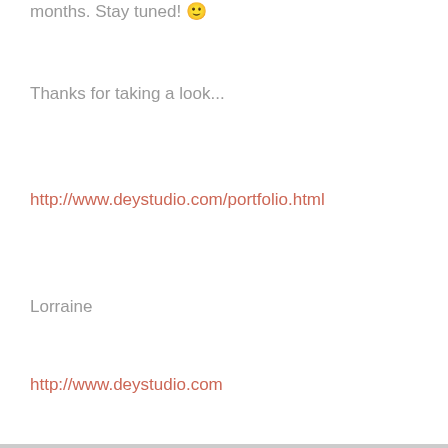months. Stay tuned! 😊
Thanks for taking a look...
http://www.deystudio.com/portfolio.html
Lorraine
http://www.deystudio.com